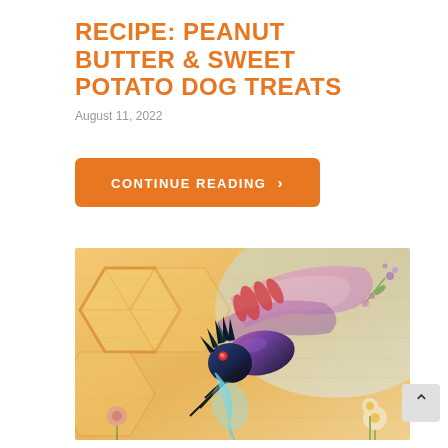RECIPE: PEANUT BUTTER & SWEET POTATO DOG TREATS
August 11, 2022
CONTINUE READING >
[Figure (illustration): Colorful mural-style illustration of a fantastical bee with vibrant pink, purple, and blue feathered wings, set against a honeycomb and floral background in warm orange and yellow tones.]